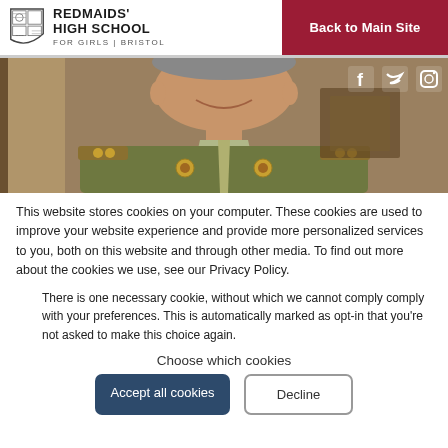REDMAIDS' HIGH SCHOOL FOR GIRLS | BRISTOL — Back to Main Site
[Figure (photo): Close-up photo of a man in military uniform (olive green jacket with gold insignia), smiling, with social media icons (Facebook, Twitter, Instagram) visible top-right.]
This website stores cookies on your computer. These cookies are used to improve your website experience and provide more personalized services to you, both on this website and through other media. To find out more about the cookies we use, see our Privacy Policy.
There is one necessary cookie, without which we cannot comply comply with your preferences. This is automatically marked as opt-in that you're not asked to make this choice again.
Choose which cookies
Accept all cookies
Decline